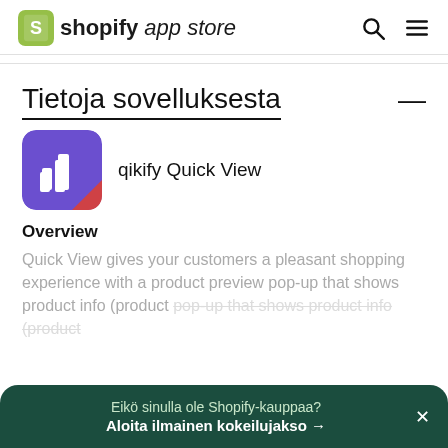shopify app store
Tietoja sovelluksesta
[Figure (logo): qikify Quick View app icon — purple/violet rounded square with white bar chart icon and red accent in bottom right corner]
qikify Quick View
Overview
Quick View gives your customers a pleasant shopping experience with a product preview pop-up that shows product info (product...
Eikö sinulla ole Shopify-kauppaa?
Aloita ilmainen kokeilujakso →